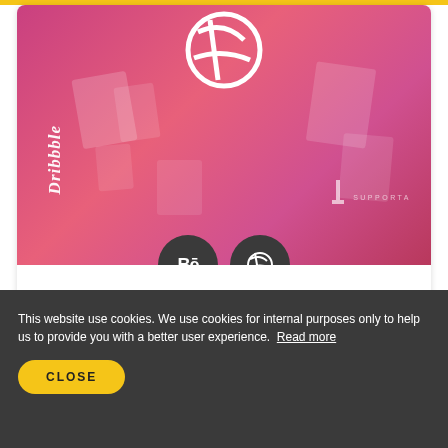[Figure (screenshot): A card showing a pink/magenta gradient image with Dribbble branding: Dribbble logo at top center, vertical 'Dribbble' cursive text on left, 'SUPPORTA' text at lower right, and two dark circular social icons (Behance and Dribbble) centered at the bottom of the card.]
This website use cookies. We use cookies for internal purposes only to help us to provide you with a better user experience.  Read more